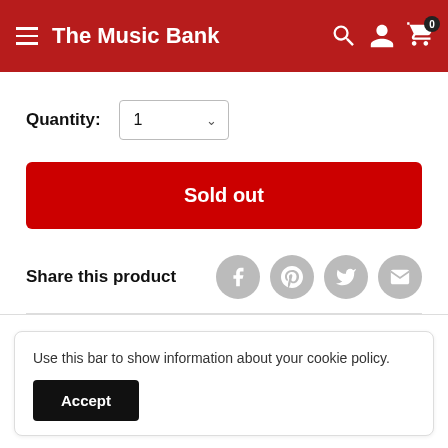The Music Bank
Quantity: 1
Sold out
Share this product
Use this bar to show information about your cookie policy.
Accept
Hearing protection for musicians